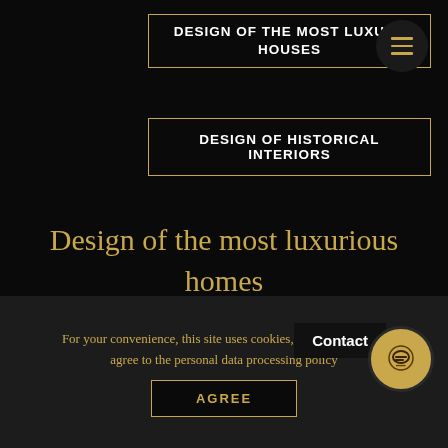DESIGN OF THE MOST LUXURY HOUSES
DESIGN OF HISTORICAL INTERIORS
Design of the most luxurious homes
For your convenience, this site uses cookies, by staying on the site you agree to the personal data processing policy
AGREE
Contact